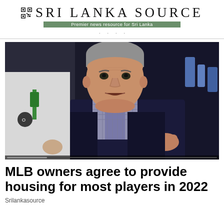Sri Lanka Source — Premier news resource for Sri Lanka
[Figure (photo): A man in a dark suit with grey hair gesturing with both hands, speaking. Another person in a white shirt and green lanyard is partially visible to the left. Dark background.]
MLB owners agree to provide housing for most players in 2022
Srilankasource